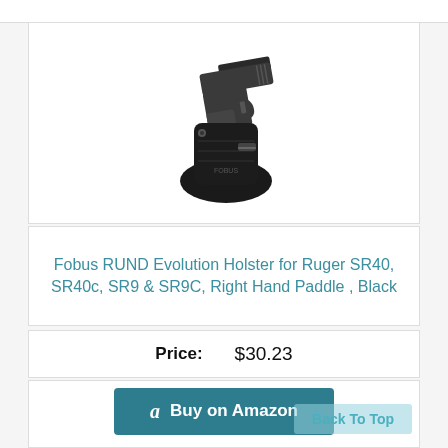[Figure (photo): Product photo of Fobus RUND Evolution Holster for Ruger SR40/SR9, black paddle holster with pistol inserted]
Fobus RUND Evolution Holster for Ruger SR40, SR40c, SR9 & SR9C, Right Hand Paddle , Black
Price: $30.23
Buy on Amazon
Back To Top